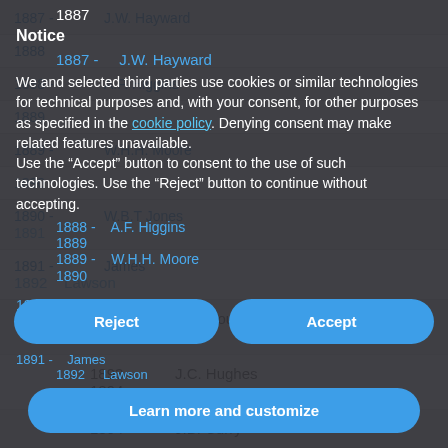1887
Notice
1887 - J.W. Hayward
We and selected third parties use cookies or similar technologies for technical purposes and, with your consent, for other purposes as specified in the cookie policy. Denying consent may make related features unavailable.
Use the “Accept” button to consent to the use of such technologies. Use the “Reject” button to continue without accepting.
1888
1888 - A.F. Higgins
1889
1889 - W.H.H. Moore
1890
1890 - W.B.T Jones
1891
1891 - James
1892 Lawson
1892 - 1893  J.H. Gourlie
1893 - 1894  J.C. Hughes
1894 -  J.B. Curry